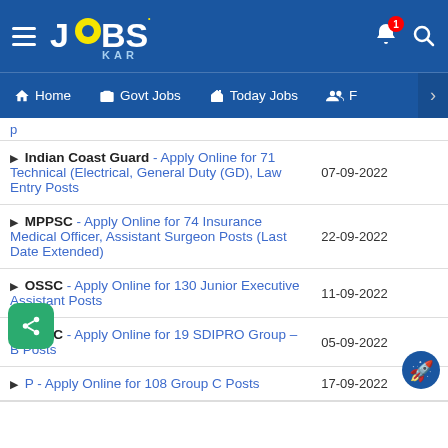[Figure (screenshot): JobsKar app header with logo, hamburger menu, bell notification badge showing 1, and search icon on blue background]
Home | Govt Jobs | Today Jobs | F
Indian Coast Guard - Apply Online for 71 Technical (Electrical, General Duty (GD), Law Entry Posts | 07-09-2022
MPPSC - Apply Online for 74 Insurance Medical Officer, Assistant Surgeon Posts (Last Date Extended) | 22-09-2022
OSSC - Apply Online for 130 Junior Executive Assistant Posts | 11-09-2022
OPSC - Apply Online for 19 SDIPRO Group – B Posts | 05-09-2022
P - Apply Online for 108 Group C Posts | 17-09-2022